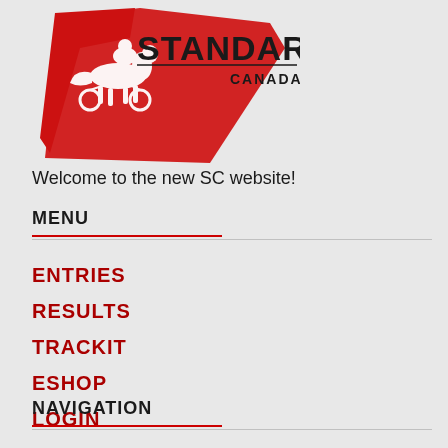[Figure (logo): Standardbred Canada logo with red horse and rider graphic and bold text 'STANDARDBRED CANADA']
Welcome to the new SC website!
MENU
ENTRIES
RESULTS
TRACKIT
ESHOP
LOGIN
HOME
NAVIGATION